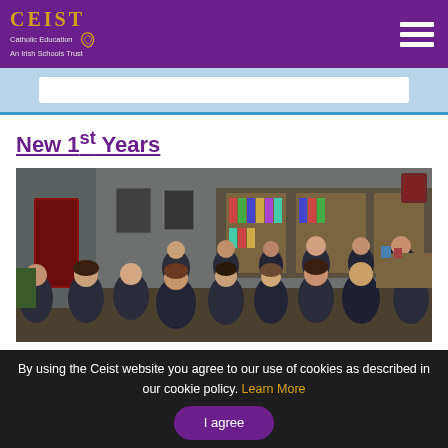CEIST — Catholic Education An Irish Schools Trust
New 1st Years
[Figure (photo): Students in school uniforms gathered in a library/classroom setting, browsing books and shelves.]
By using the Ceist website you agree to our use of cookies as described in our cookie policy. Learn More
I agree